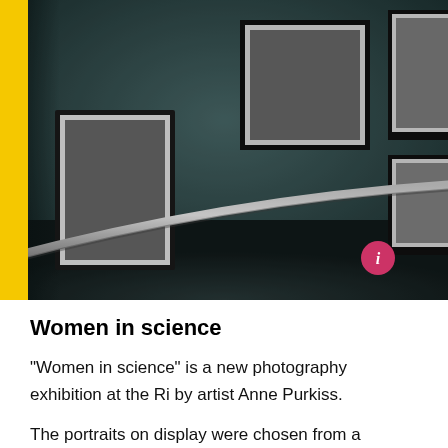[Figure (photo): Gallery interior showing framed black-and-white photographs hung on a teal wall, with a metal handrail in the foreground. A yellow bar is visible on the left edge. A pink circular info button is visible at lower right of the image.]
Women in science
"Women in science" is a new photography exhibition at the Ri by artist Anne Purkiss.
The portraits on display were chosen from a collection of